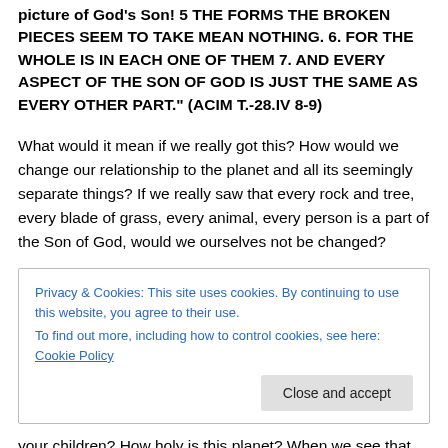picture of God's Son! 5 THE FORMS THE BROKEN PIECES SEEM TO TAKE MEAN NOTHING. 6. FOR THE WHOLE IS IN EACH ONE OF THEM 7. AND EVERY ASPECT OF THE SON OF GOD IS JUST THE SAME AS EVERY OTHER PART." (ACIM T.-28.IV 8-9)
What would it mean if we really got this? How would we change our relationship to the planet and all its seemingly separate things? If we really saw that every rock and tree, every blade of grass, every animal, every person is a part of the Son of God, would we ourselves not be changed?
Privacy & Cookies: This site uses cookies. By continuing to use this website, you agree to their use.
To find out more, including how to control cookies, see here: Cookie Policy
your children? How holy is this planet? When we see that,